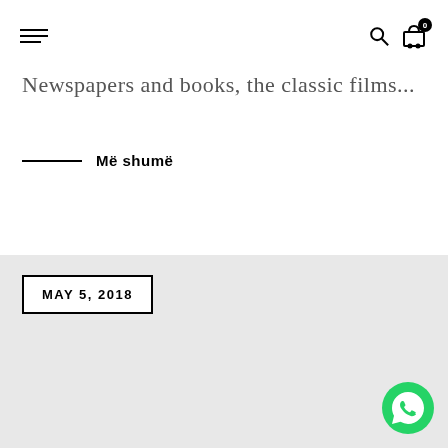Navigation bar with hamburger menu, search icon, and cart icon with badge 0
Newspapers and books, the classic films...
Më shumë
MAY 5, 2018
[Figure (logo): WhatsApp button icon in green circle at bottom right]